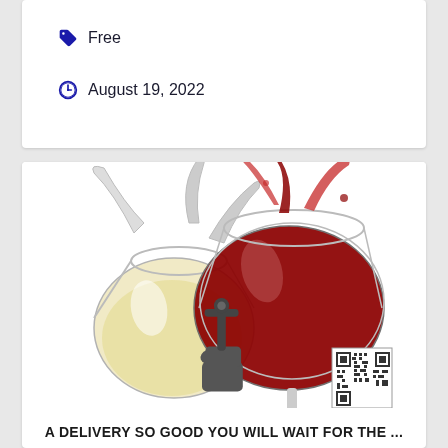Free
August 19, 2022
[Figure (photo): Two wine glasses clinking together — one with white wine and one with red wine, with liquid splashing. A wine delivery icon (hand holding a wine bottle) is below the glasses. A QR code appears in the bottom right of the image.]
A DELIVERY SO GOOD YOU WILL WAIT FOR THE ...